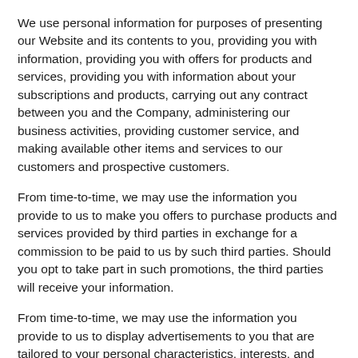We use personal information for purposes of presenting our Website and its contents to you, providing you with information, providing you with offers for products and services, providing you with information about your subscriptions and products, carrying out any contract between you and the Company, administering our business activities, providing customer service, and making available other items and services to our customers and prospective customers.
From time-to-time, we may use the information you provide to us to make you offers to purchase products and services provided by third parties in exchange for a commission to be paid to us by such third parties. Should you opt to take part in such promotions, the third parties will receive your information.
From time-to-time, we may use the information you provide to us to display advertisements to you that are tailored to your personal characteristics, interests, and activities.
Disclosure Of Your Information
As a general rule, we do not sell, rent, lease or otherwise transfer any information collected whether automatically or through your voluntary action.